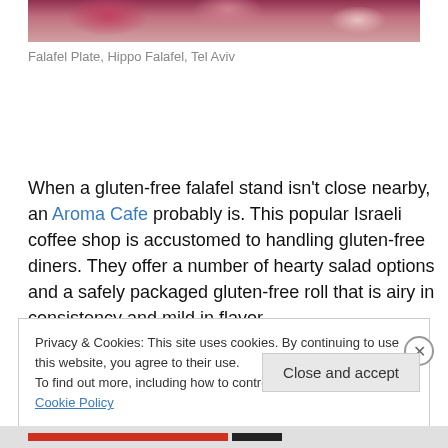[Figure (photo): Top portion of a food/floral image, showing colorful flowers or food arrangement in pink, red and cream tones]
Falafel Plate, Hippo Falafel, Tel Aviv
When a gluten-free falafel stand isn't close nearby, an Aroma Cafe probably is. This popular Israeli coffee shop is accustomed to handling gluten-free diners. They offer a number of hearty salad options and a safely packaged gluten-free roll that is airy in consistency and mild in flavor.
Privacy & Cookies: This site uses cookies. By continuing to use this website, you agree to their use.
To find out more, including how to control cookies, see here: Cookie Policy
Close and accept